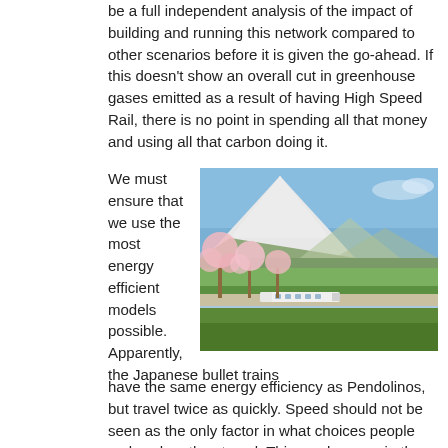be a full independent analysis of the impact of building and running this network compared to other scenarios before it is given the go-ahead. If this doesn't show an overall cut in greenhouse gases emitted as a result of having High Speed Rail, there is no point in spending all that money and using all that carbon doing it.
[Figure (photo): A high-speed bullet train passing in front of snow-capped Mount Fuji with cherry blossom trees in the foreground, Japan.]
We must ensure that we use the most energy efficient models possible. Apparently, the Japanese bullet trains have the same energy efficiency as Pendolinos, but travel twice as quickly. Speed should not be seen as the only factor in what choices people make when they travel. This can be seen in the numbers of people who currently take coach or slower trains to London rather than the 85-minute Virgin service, which is prohibitively